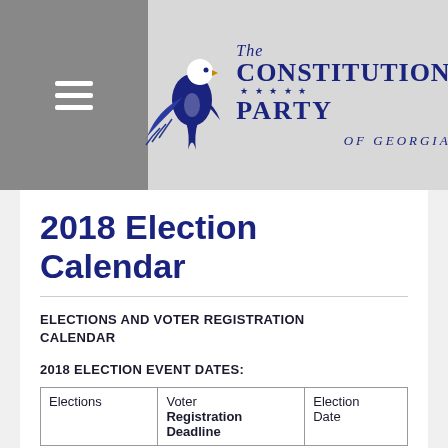[Figure (logo): The Constitution Party of Georgia logo with eagle and stars]
2018 Election Calendar
ELECTIONS AND VOTER REGISTRATION CALENDAR
2018 ELECTION EVENT DATES:
| Elections | Voter Registration Deadline | Election Date |
| --- | --- | --- |